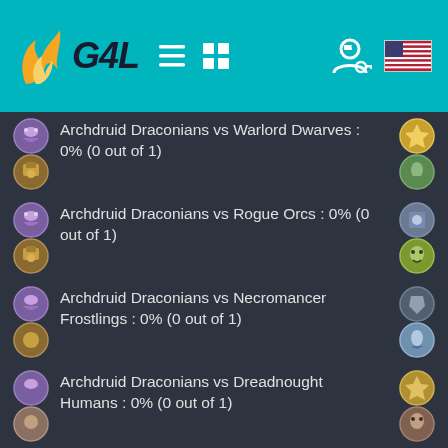G4L navigation header
Archdruid Draconians vs Warlord Dwarves : 0% (0 out of 1)
Archdruid Draconians vs Rogue Orcs : 0% (0 out of 1)
Archdruid Draconians vs Necromancer Frostlings : 0% (0 out of 1)
Archdruid Draconians vs Dreadnought Humans : 0% (0 out of 1)
Archdruid Draconians vs Rogue Halflings : 100% (1 out of 1)
Archdruid Draconians vs Theocrat Elves : 0% (0 out of 1)
Archdruid Draconians vs Rogue ...